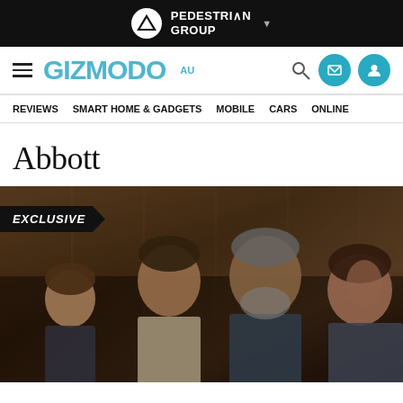PEDESTRIAN GROUP
GIZMODO AU
REVIEWS | SMART HOME & GADGETS | MOBILE | CARS | ONLINE
Abbott
[Figure (photo): Movie still showing four people (a young girl, two adult men, and a woman) sitting in a row in what appears to be a wooden-panelled room, with an 'EXCLUSIVE' badge overlay in the top-left corner.]